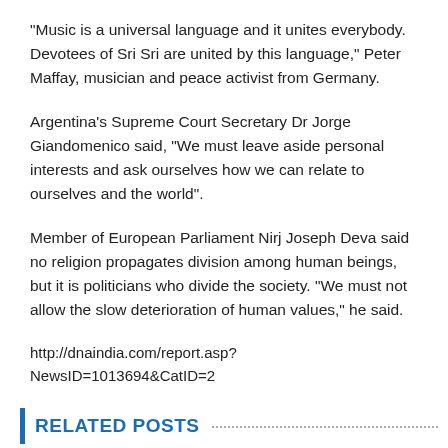"Music is a universal language and it unites everybody. Devotees of Sri Sri are united by this language," Peter Maffay, musician and peace activist from Germany.
Argentina's Supreme Court Secretary Dr Jorge Giandomenico said, "We must leave aside personal interests and ask ourselves how we can relate to ourselves and the world".
Member of European Parliament Nirj Joseph Deva said no religion propagates division among human beings, but it is politicians who divide the society. "We must not allow the slow deterioration of human values," he said.
http://dnaindia.com/report.asp?NewsID=1013694&CatID=2
RELATED POSTS